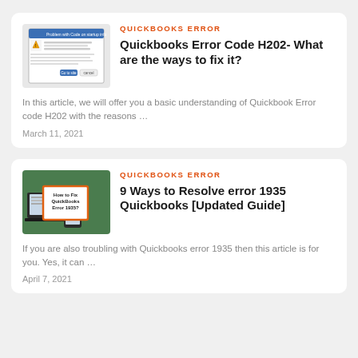[Figure (screenshot): Screenshot of a QuickBooks error dialog box with blue title bar and warning icon]
QUICKBOOKS ERROR
Quickbooks Error Code H202- What are the ways to fix it?
In this article, we will offer you a basic understanding of Quickbook Error code H202 with the reasons …
March 11, 2021
[Figure (screenshot): Green background image showing laptop and phone with orange-bordered box reading How to Fix QuickBooks Error 1935?]
QUICKBOOKS ERROR
9 Ways to Resolve error 1935 Quickbooks [Updated Guide]
If you are also troubling with Quickbooks error 1935 then this article is for you. Yes, it can …
April 7, 2021